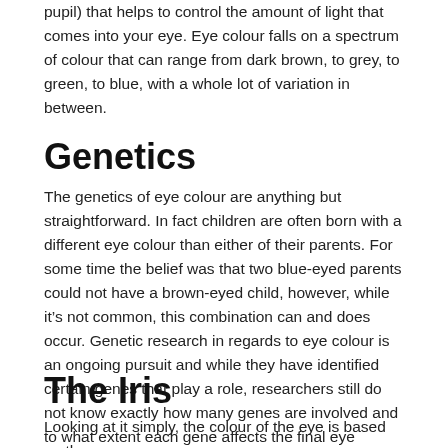pupil) that helps to control the amount of light that comes into your eye. Eye colour falls on a spectrum of colour that can range from dark brown, to grey, to green, to blue, with a whole lot of variation in between.
Genetics
The genetics of eye colour are anything but straightforward. In fact children are often born with a different eye colour than either of their parents. For some time the belief was that two blue-eyed parents could not have a brown-eyed child, however, while it’s not common, this combination can and does occur. Genetic research in regards to eye colour is an ongoing pursuit and while they have identified certain genes that play a role, researchers still do not know exactly how many genes are involved and to what extent each gene affects the final eye colour.
The Iris
Looking at it simply, the colour of the eye is based on the